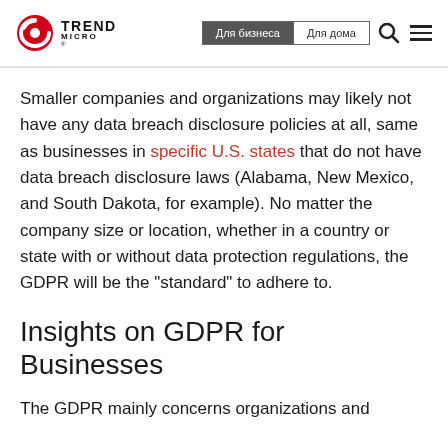Trend Micro — Для бизнеса | Для дома
Smaller companies and organizations may likely not have any data breach disclosure policies at all, same as businesses in specific U.S. states that do not have data breach disclosure laws (Alabama, New Mexico, and South Dakota, for example). No matter the company size or location, whether in a country or state with or without data protection regulations, the GDPR will be the “standard” to adhere to.
Insights on GDPR for Businesses
The GDPR mainly concerns organizations and